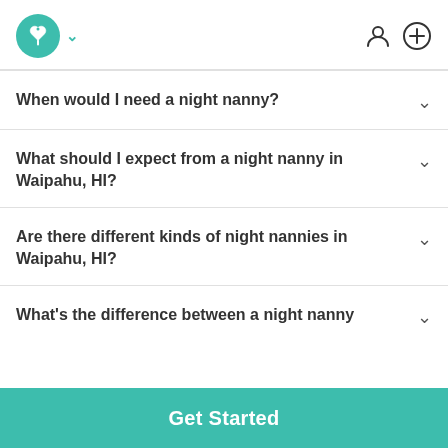Care.com logo with chevron, user icon, and add icon
When would I need a night nanny?
What should I expect from a night nanny in Waipahu, HI?
Are there different kinds of night nannies in Waipahu, HI?
What's the difference between a night nanny
Get Started